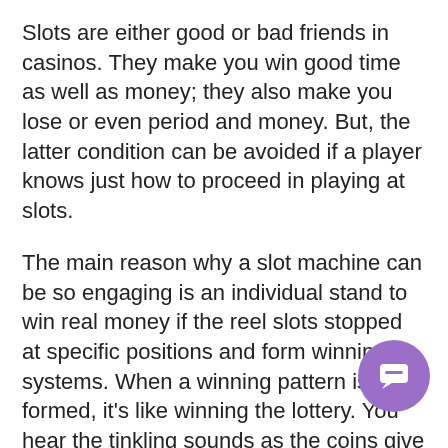Slots are either good or bad friends in casinos. They make you win good time as well as money; they also make you lose or even period and money. But, the latter condition can be avoided if a player knows just how to proceed in playing at slots.
The main reason why a slot machine can be so engaging is an individual stand to win real money if the reel slots stopped at specific positions and form winning systems. When a winning pattern is formed, it's like winning the lottery. You hear the tinkling sounds as the coins give up of gear!
Not all casinos provide po  Need Help?  to these questions, that is, when they would even admit it all. It is far better to find out the answer